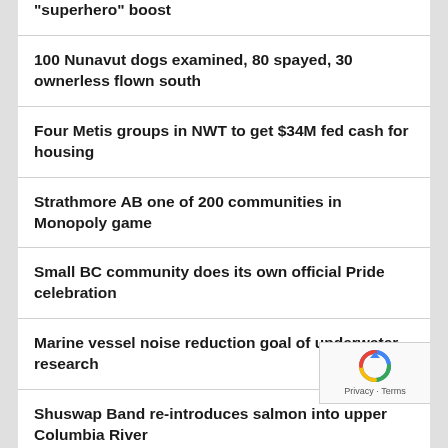“superhero” boost
100 Nunavut dogs examined, 80 spayed, 30 ownerless flown south
Four Metis groups in NWT to get $34M fed cash for housing
Strathmore AB one of 200 communities in Monopoly game
Small BC community does its own official Pride celebration
Marine vessel noise reduction goal of underwater research
Shuswap Band re-introduces salmon into upper Columbia River